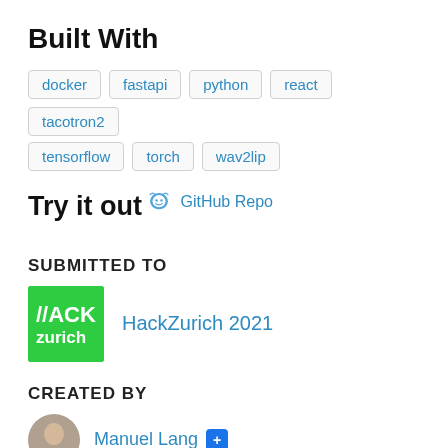Built With
docker
fastapi
python
react
tacotron2
tensorflow
torch
wav2lip
Try it out
GitHub Repo
SUBMITTED TO
[Figure (logo): HackZurich green logo with waveform and text]
HackZurich 2021
CREATED BY
Manuel Lang +